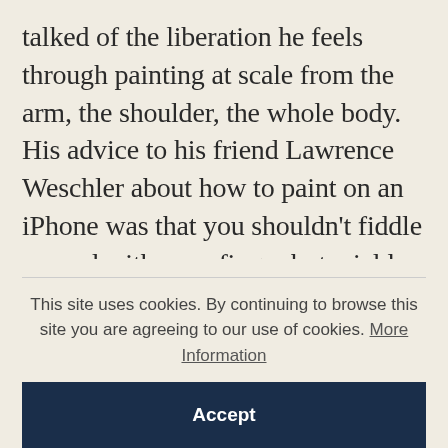talked of the liberation he feels through painting at scale from the arm, the shoulder, the whole body. His advice to his friend Lawrence Weschler about how to paint on an iPhone was that you shouldn't fiddle around with your finger but wield your prehensile thumb for maximum speed and dexterity. A film about him made a couple of years ago by Bruno Wollheim – echoing those films of Picasso or Pollock doing their magical thing – has scenes of him painting in the open air like someone inspired, and even if such images aren't
This site uses cookies. By continuing to browse this site you are agreeing to our use of cookies. More Information
Accept